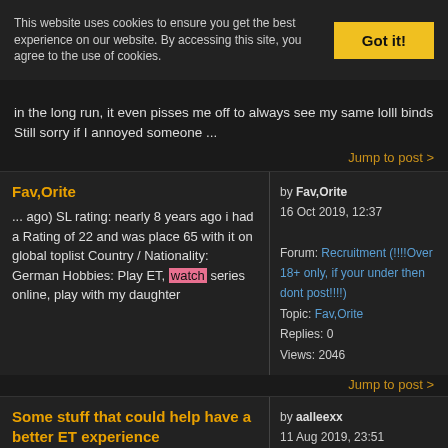This website uses cookies to ensure you get the best experience on our website. By accessing this site, you agree to the use of cookies.
Got it!
in the long run, it even pisses me off to always see my same lolll binds Still sorry if I annoyed someone ...
Jump to post >
Fav,Orite
... ago) SL rating: nearly 8 years ago i had a Rating of 22 and was place 65 with it on global toplist Country / Nationality: German Hobbies: Play ET, watch series online, play with my daughter
by Fav,Orite
16 Oct 2019, 12:37

Forum: Recruitment (!!!!Over 18+ only, if your under then dont post!!!!)
Topic: Fav,Orite
Replies: 0
Views: 2046
Jump to post >
Some stuff that could help have a better ET experience
... the base, but just a basic basis and amplifying a lot !!!! CREATE A COPY OF REGESTRY !!!! CREATE SYSTEM RESTORE POINT !!!! https://www.youtube.com/watch?v=vKH0QeV0coM https://www.youtube.com/watch?
by aalleexx
11 Aug 2019, 23:51

Forum: Enemy Territory
Topic: Some stuff that could help have a better ET experience
Replies: 0
Views: 18417